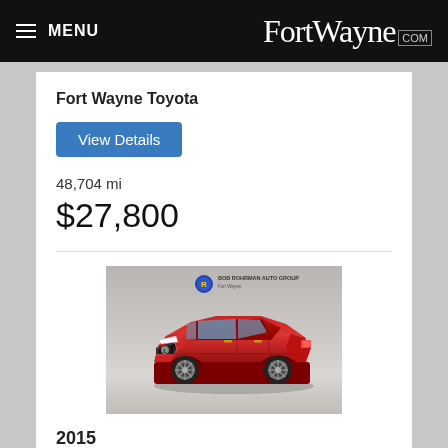MENU  FortWayne.com
Fort Wayne Toyota
View Details
48,704 mi
$27,800
[Figure (photo): Red 2015 Lexus NX 200t SUV photographed at Bob Rohrman Auto Group Fort Wayne dealership showroom]
2015
Used
📷 28
Lexus NX 200t